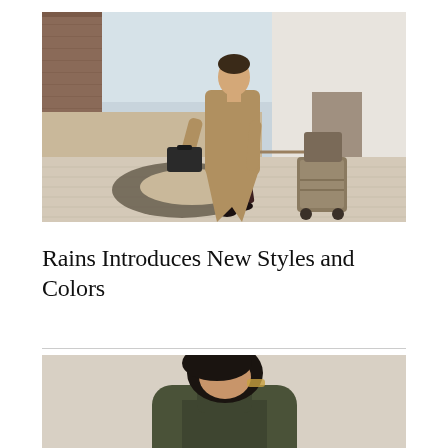[Figure (photo): A man in a tan/camel overcoat walking outdoors on a plaza, carrying a dark briefcase in one hand and pulling a rolling luggage trolley with two pieces of luggage in the other. He wears dark trousers and black shoes. Behind him is a white modern building and a brick building. There is a large abstract dark shape on the ground.]
Rains Introduces New Styles and Colors
[Figure (photo): Close-up of a person with dark hair wearing a dark olive/green jacket or coat, partially visible, appearing to look downward.]